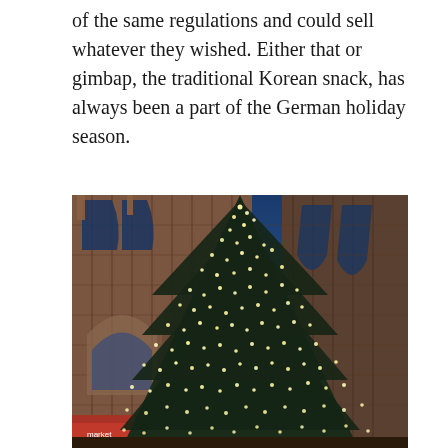of the same regulations and could sell whatever they wished. Either that or gimbap, the traditional Korean snack, has always been a part of the German holiday season.
[Figure (photo): A large Christmas tree covered in bright white lights stands in front of a Gothic stone cathedral at dusk. The church features pointed arches, ornate stone carvings, and large stained glass windows. The blue evening sky is visible behind the church.]